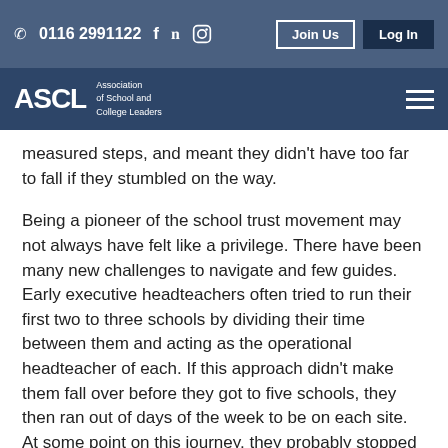0116 2991122  Join Us  Log In
[Figure (logo): ASCL – Association of School and College Leaders logo with white text on dark blue navigation bar]
measured steps, and meant they didn't have too far to fall if they stumbled on the way.
Being a pioneer of the school trust movement may not always have felt like a privilege. There have been many new challenges to navigate and few guides. Early executive headteachers often tried to run their first two to three schools by dividing their time between them and acting as the operational headteacher of each. If this approach didn't make them fall over before they got to five schools, they then ran out of days of the week to be on each site. At some point on this journey, they probably stopped calling themself executive headteacher and stepped more fully into the role of CEO. I'm sure it wasn't easy, but the first CEOs did have the chance to